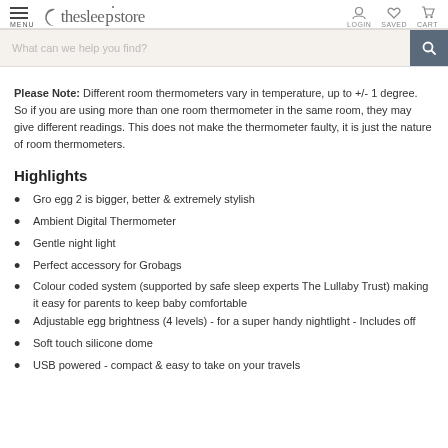the sleep store — MENU | LOGIN | SAVED | CART
Please Note: Different room thermometers vary in temperature, up to +/- 1 degree. So if you are using more than one room thermometer in the same room, they may give different readings. This does not make the thermometer faulty, it is just the nature of room thermometers.
Highlights
Gro egg 2 is bigger, better & extremely stylish
Ambient Digital Thermometer
Gentle night light
Perfect accessory for Grobags
Colour coded system (supported by safe sleep experts The Lullaby Trust) making it easy for parents to keep baby comfortable
Adjustable egg brightness (4 levels) - for a super handy nightlight - Includes off
Soft touch silicone dome
USB powered - compact & easy to take on your travels